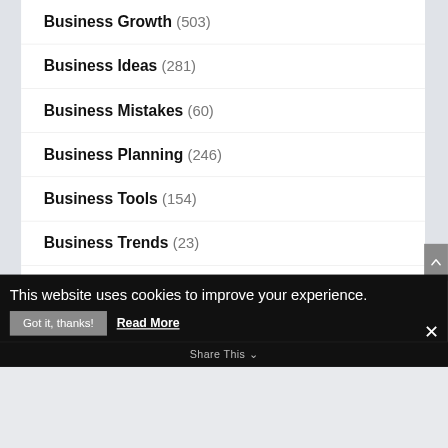Business Growth (503)
Business Ideas (281)
Business Mistakes (60)
Business Planning (246)
Business Tools (154)
Business Trends (23)
Business Writing (62)
Career (2)
This website uses cookies to improve your experience.
Got it, thanks!
Read More
Share This
✕